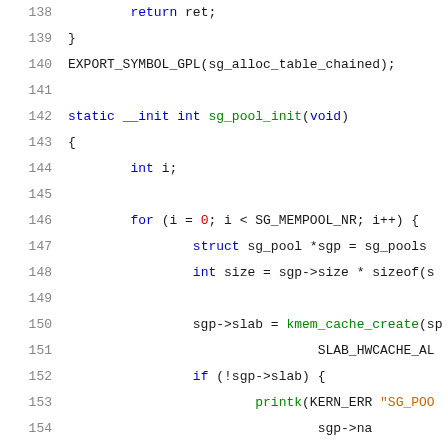[Figure (screenshot): Source code listing lines 138-158 of a C file showing sg_pool_init function implementation with syntax highlighting. Keywords in blue, string literals in orange, function names in green, numbers in red, default text in dark.]